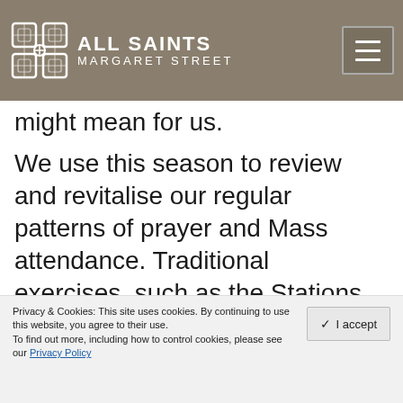ALL SAINTS MARGARET STREET
might mean for us.
We use this season to review and revitalise our regular patterns of prayer and Mass attendance. Traditional exercises, such as the Stations of the Cross on Friday evenings in Lent, additional and spiritual and devotional reading and a renewed commitment to making our confession or receiving spiritual direction,
Privacy & Cookies: This site uses cookies. By continuing to use this website, you agree to their use. To find out more, including how to control cookies, please see our Privacy Policy
✓ I accept